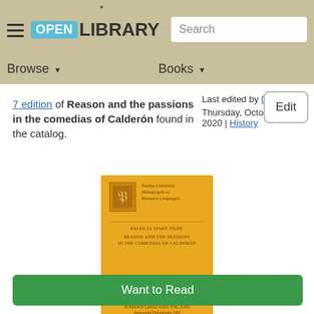Open Library — Browse | Books | Search
7 edition of Reason and the passions in the comedias of Calderón found in the catalog.
Last edited by Dat
Thursday, October 15, 2020 | History
Edit
[Figure (photo): Yellow book cover for 'Reason and the Passions in the Comedias of Calderón' — Purdue University Monographs in Romance Languages]
Want to Read